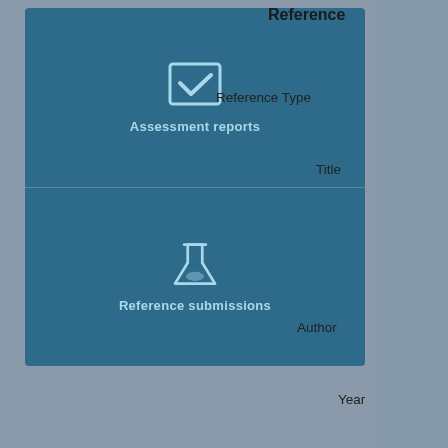[Figure (screenshot): UI screenshot showing a teal card with two sections: top section has a checkmark icon and label 'Assessment reports', bottom section has a flask/beaker icon and label 'Reference submissions']
Reference
Reference Type
Title
Author
Year
Bibliographic ci...
Materials an...
Test guideline
Qualifier
Guideline